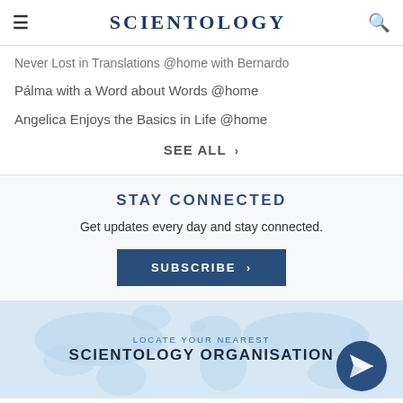SCIENTOLOGY
Never Lost in Translations @home with Bernardo
Pálma with a Word about Words @home
Angelica Enjoys the Basics in Life @home
SEE ALL >
STAY CONNECTED
Get updates every day and stay connected.
SUBSCRIBE >
LOCATE YOUR NEAREST SCIENTOLOGY ORGANISATION
[Figure (map): World map background with 'LOCATE YOUR NEAREST SCIENTOLOGY ORGANISATION' text overlay and a paper plane icon button on the right]